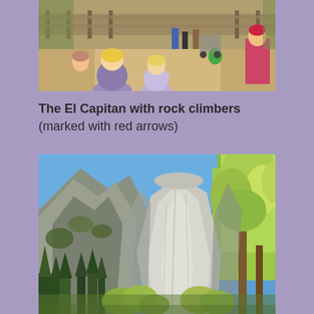[Figure (photo): Outdoor scene with people viewed from behind, walking on a path in what appears to be a park or recreation area with trees and wooden fencing in the background.]
The El Capitan with rock climbers (marked with red arrows)
[Figure (photo): El Capitan rock formation in Yosemite National Park. A large granite monolith rises prominently in the center under a clear blue sky, with yellow-green autumn trees in the foreground and right side, and additional rocky cliffs on the left.]